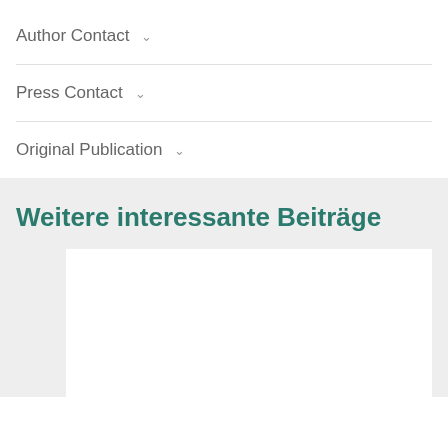Author Contact ∨
Press Contact ∨
Original Publication ∨
Weitere interessante Beiträge
[Figure (other): White card/image placeholder in a light grey background section]